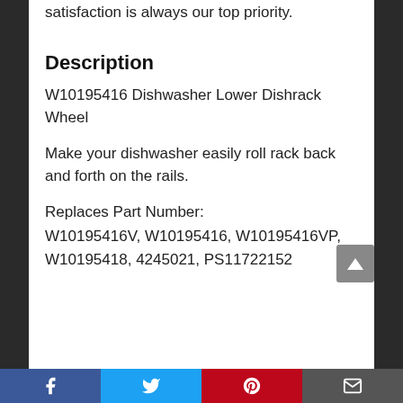satisfaction is always our top priority.
Description
W10195416 Dishwasher Lower Dishrack Wheel
Make your dishwasher easily roll rack back and forth on the rails.
Replaces Part Number:
W10195416V, W10195416, W10195416VP, W10195418, 4245021, PS11722152
Facebook Twitter Pinterest Email